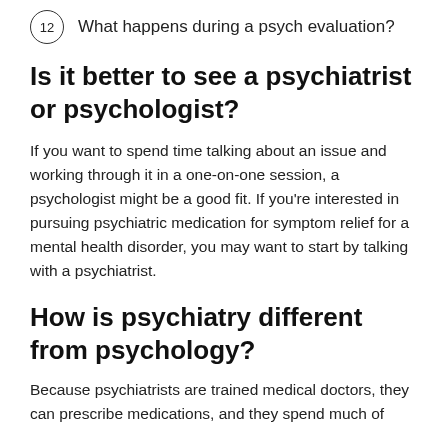12  What happens during a psych evaluation?
Is it better to see a psychiatrist or psychologist?
If you want to spend time talking about an issue and working through it in a one-on-one session, a psychologist might be a good fit. If you're interested in pursuing psychiatric medication for symptom relief for a mental health disorder, you may want to start by talking with a psychiatrist.
How is psychiatry different from psychology?
Because psychiatrists are trained medical doctors, they can prescribe medications, and they spend much of